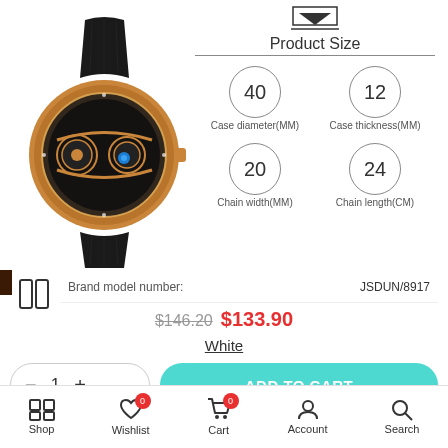[Figure (photo): Skeleton mechanical watch with rose gold case, black leather strap, transparent dial showing internal gears and blue jewel, with product size specifications on the right showing: Case diameter 40MM, Case thickness 12MM, Chain width 20MM, Chain length 24CM]
Brand model number: JSDUN/8917
$146.20 $133.90
White
− 1 +
ADD TO CART
Shop  Wishlist 0  Cart 0  Account  Search